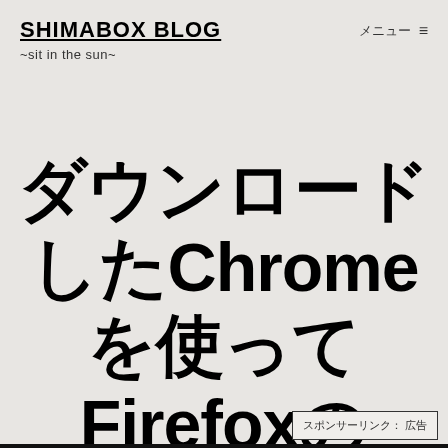SHIMABOX BLOG ~sit in the sun~
ダウンロードしたChromeを使ってFirefoxのphp-webdriverを試す
スポンサーリンク: 広告